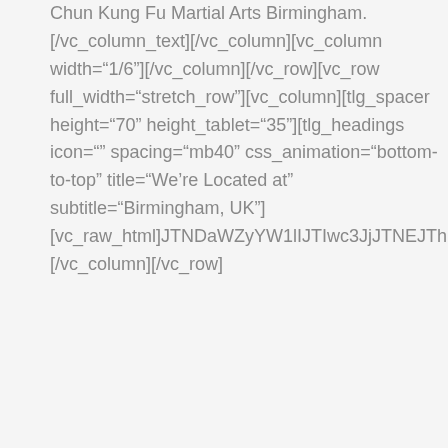Chun Kung Fu Martial Arts Birmingham.[/vc_column_text][/vc_column][vc_column width="1/6"][/vc_column][/vc_row][vc_row full_width="stretch_row"][vc_column][tlg_spacer height="70" height_tablet="35"][tlg_headings icon="" spacing="mb40" css_animation="bottom-to-top" title="We're Located at" subtitle="Birmingham, UK"][vc_raw_html]JTNDaWZyYW1lIJTIwc3JjJTNEJTh[/vc_raw_html][/vc_column][/vc_row]